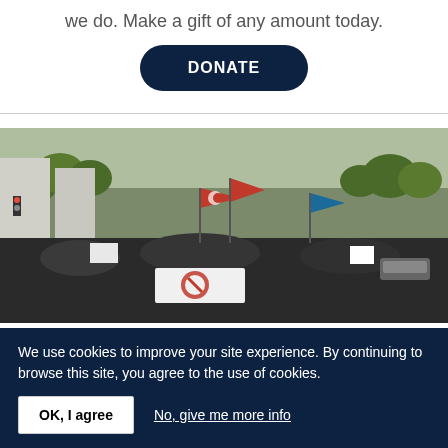we do. Make a gift of any amount today.
DONATE
[Figure (photo): Large crowd of protesters marching on a wide urban street lined with trees, holding red flags with a crescent-and-star emblem, banners, and signs. A white banner with a protest graphic is visible in the crowd.]
We use cookies to improve your site experience. By continuing to browse this site, you agree to the use of cookies.
OK, I agree
No, give me more info